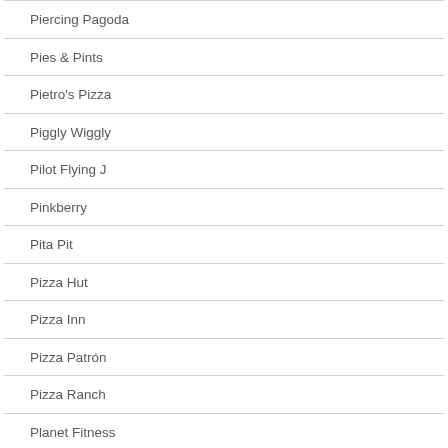Piercing Pagoda
Pies & Pints
Pietro's Pizza
Piggly Wiggly
Pilot Flying J
Pinkberry
Pita Pit
Pizza Hut
Pizza Inn
Pizza Patrón
Pizza Ranch
Planet Fitness
Planet Sub
Play It Again Sports